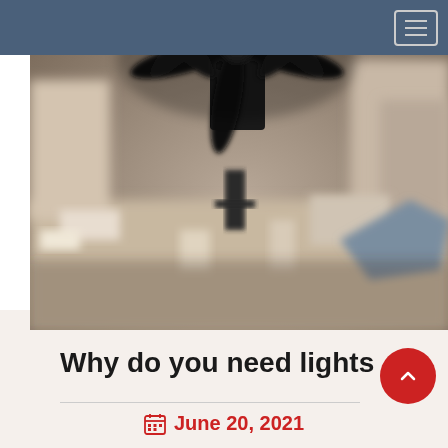[Figure (photo): A blurred close-up photograph showing a dark industrial fan or drone-like object with spinning blades at the top, suspended over a blurry urban rooftop scene with various equipment and structures visible below.]
Why do you need lights
June 20, 2021